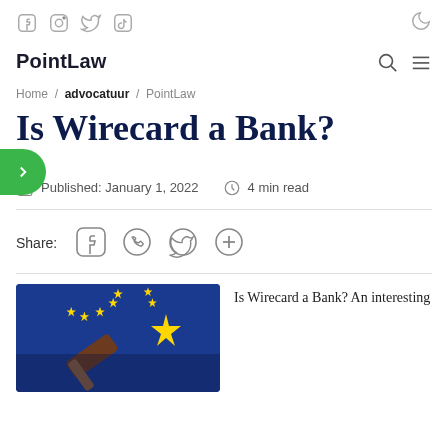Social icons: Facebook, Instagram, Twitter, TikTok; Moon/dark mode icon
PointLaw
Home / advocatuur / PointLaw
Is Wirecard a Bank?
Published: January 1, 2022   4 min read
Share:
[Figure (photo): EU flag with gavel in foreground, article thumbnail image]
Is Wirecard a Bank? An interesting